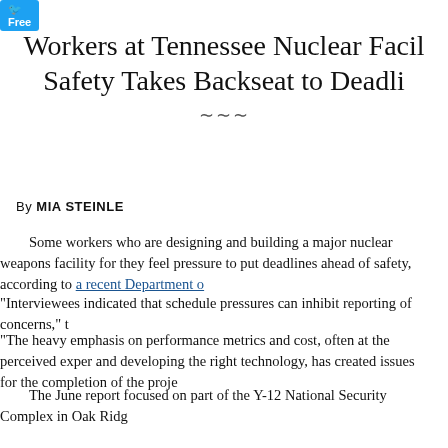[Figure (logo): Twitter share button, blue rounded rectangle with white text]
Workers at Tennessee Nuclear Facility Say Safety Takes Backseat to Deadlines
By MIA STEINLE
Some workers who are designing and building a major nuclear weapons facility for they feel pressure to put deadlines ahead of safety, according to a recent Department o
"Interviewees indicated that schedule pressures can inhibit reporting of concerns," t
"The heavy emphasis on performance metrics and cost, often at the perceived exper and developing the right technology, has created issues for the completion of the proje
The June report focused on part of the Y-12 National Security Complex in Oak Ridg intended to consolidate operations involving bomb-grade uranium for the nation's nuc completed, the Uranium Processing Facility will be used for the assembly, disassembly components and of bomb-grade uranium, according to its website.
The report was posted on a government web site just days after a major security bre